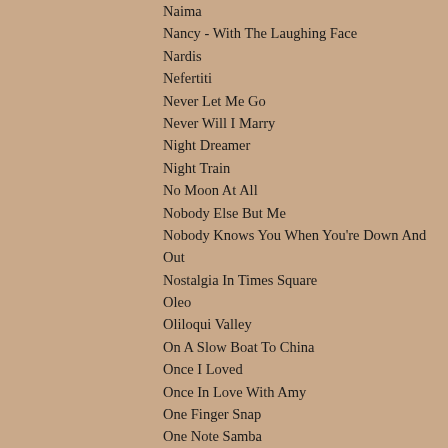Naima
Nancy - With The Laughing Face
Nardis
Nefertiti
Never Let Me Go
Never Will I Marry
Night Dreamer
Night Train
No Moon At All
Nobody Else But Me
Nobody Knows You When You're Down And Out
Nostalgia In Times Square
Oleo
Oliloqui Valley
On A Slow Boat To China
Once I Loved
Once In Love With Amy
One Finger Snap
One Note Samba
Only Trust Your Heart
Orbits
Ornithology
P.S. I Love You
Paper Doll
Passion Dance
Peace
Peggy's Blue Skylight
Pent Up House